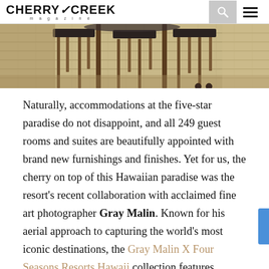CHERRY CREEK magazine
[Figure (photo): Outdoor dining area with wooden chairs and tables on a light wood deck, photographed from a low angle showing chair legs and table bases]
Naturally, accommodations at the five-star paradise do not disappoint, and all 249 guest rooms and suites are beautifully appointed with brand new furnishings and finishes. Yet for us, the cherry on top of this Hawaiian paradise was the resort's recent collaboration with acclaimed fine art photographer Gray Malin. Known for his aerial approach to capturing the world's most iconic destinations, the Gray Malin X Four Seasons Resorts Hawaii collection features